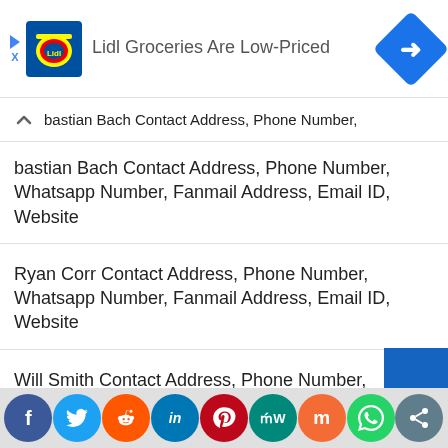[Figure (other): Lidl advertisement banner with Lidl logo, text 'Lidl Groceries Are Low-Priced', and a blue navigation/directions icon]
bastian Bach Contact Address, Phone Number, Whatsapp Number, Fanmail Address, Email ID, Website
Ryan Corr Contact Address, Phone Number, Whatsapp Number, Fanmail Address, Email ID, Website
Will Smith Contact Address, Phone Number, Whatsapp Number, Fanmail Address, Email ID, Website
YK Osiris Contact Address, Phone Number, Whatsapp Number, Fanmail Address, Email ID, Website
[Figure (other): Social media share bar with icons for Facebook, Twitter, Reddit, LinkedIn, Pinterest, MeWe, Mix, WhatsApp, and a share button]